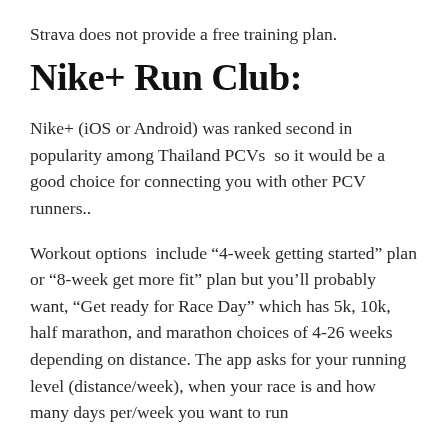Strava does not provide a free training plan.
Nike+ Run Club:
Nike+ (iOS or Android) was ranked second in popularity among Thailand PCVs  so it would be a good choice for connecting you with other PCV runners..
Workout options  include “4-week getting started” plan or “8-week get more fit” plan but you’ll probably want, “Get ready for Race Day” which has 5k, 10k, half marathon, and marathon choices of 4-26 weeks depending on distance. The app asks for your running level (distance/week), when your race is and how many days per/week you want to run